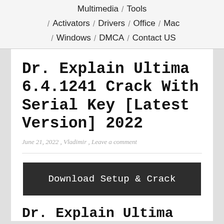Multimedia / Tools / Activators / Drivers / Office / Mac / Windows / DMCA / Contact US
Dr. Explain Ultima 6.4.1241 Crack With Serial Key [Latest Version] 2022
June 21, 2022 , Vladimir , Leave a comment
[Figure (other): Download Setup & Crack button]
Dr. Explain Ultima